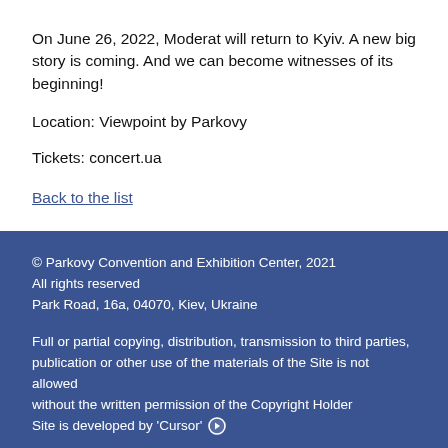On June 26, 2022, Moderat will return to Kyiv. A new big story is coming. And we can become witnesses of its beginning!
Location: Viewpoint by Parkovy
Tickets: concert.ua
Back to the list
© Parkovy Convention and Exhibition Center, 2021
All rights reserved
Park Road, 16a, 04070, Kiev, Ukraine

Full or partial copying, distribution, transmission to third parties, publication or other use of the materials of the Site is not allowed without the written permission of the Copyright Holder
Site is developed by 'Cursor'